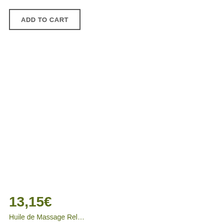ADD TO CART
13,15€
Huile de Massage Relaxante